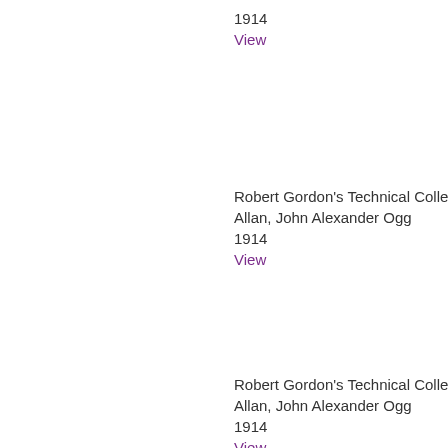1914
View
Robert Gordon's Technical College Sc
Allan, John Alexander Ogg
1914
View
Robert Gordon's Technical College Sc
Allan, John Alexander Ogg
1914
View